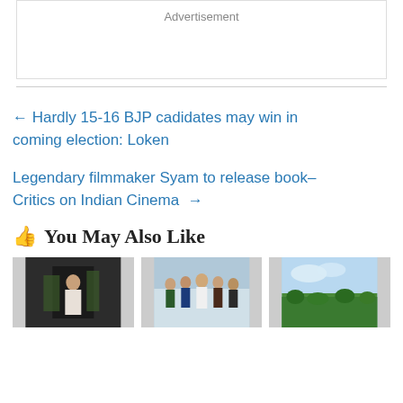Advertisement
← Hardly 15-16 BJP cadidates may win in coming election: Loken
Legendary filmmaker Syam to release book–Critics on Indian Cinema →
👍 You May Also Like
[Figure (photo): Three thumbnail images side by side showing: a dark indoor scene with a person, a group of men seated and standing indoors, and a landscape with trees and sky.]